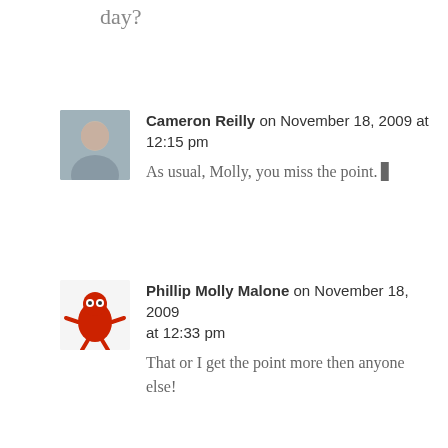day?
Cameron Reilly on November 18, 2009 at 12:15 pm
As usual, Molly, you miss the point. 🙂
Phillip Molly Malone on November 18, 2009 at 12:33 pm
That or I get the point more then anyone else!